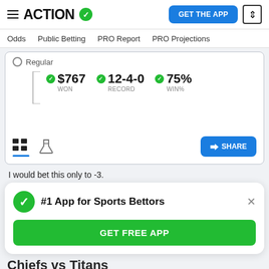ACTION | GET THE APP
Odds  Public Betting  PRO Report  PRO Projections
[Figure (infographic): Stats card showing: $767 WON, 12-4-0 RECORD, 75% WIN%, with table/flask icons, Share button, and Regular label]
I would bet this only to -3.
#1 App for Sports Bettors
GET FREE APP
Chiefs vs Titans